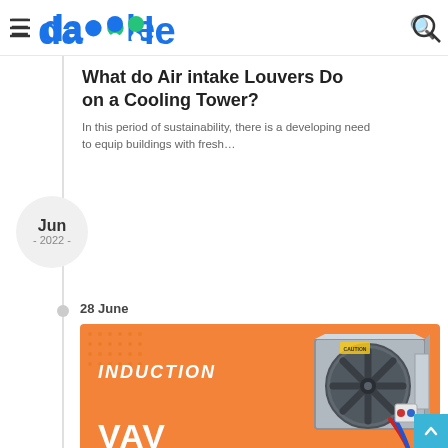dabble
What do Air intake Louvers Do on a Cooling Tower?
In this period of sustainability, there is a developing need to equip buildings with fresh…
Jun - 2022 -
28 June
[Figure (photo): Orange promotional banner for Induction VAV Boxes featuring a metallic inline duct fan unit with red and blue wires, with 'INDUCTION VAV BOXES' text in white on orange background]
Business